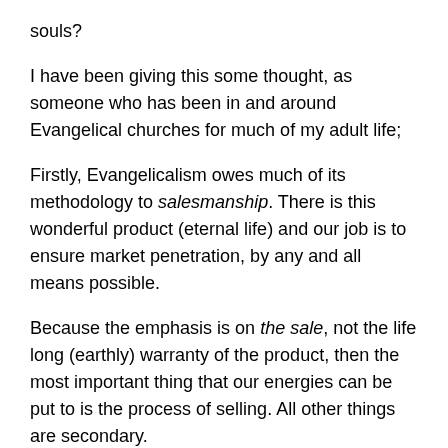souls?
I have been giving this some thought, as someone who has been in and around Evangelical churches for much of my adult life;
Firstly, Evangelicalism owes much of its methodology to salesmanship. There is this wonderful product (eternal life) and our job is to ensure market penetration, by any and all means possible.
Because the emphasis is on the sale, not the life long (earthly) warranty of the product, then the most important thing that our energies can be put to is the process of selling. All other things are secondary.
Some people are very good at selling- these people are given the respectful and elevated title ‘Evangelist’. But